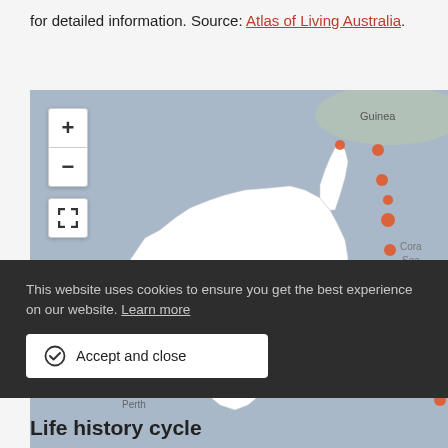for detailed information. Source: Atlas of Living Australia.
[Figure (map): Map of Australia showing orange dot occurrence records along the coastlines, particularly on the eastern and western coasts, with Papua New Guinea visible in the top right and labels for Guinea, Coral Sea, Brisbane, and Perth. Map includes zoom controls (+/-) and a fullscreen expand button.]
This website uses cookies to ensure you get the best experience on our website. Learn more
Accept and close
Life history cycle